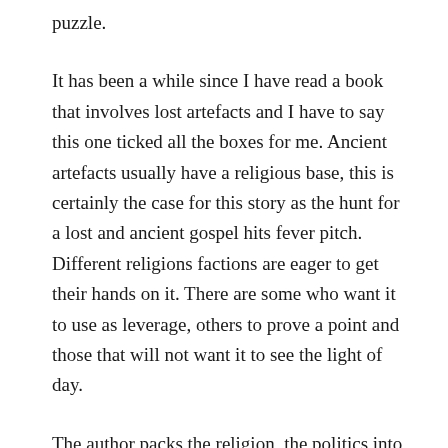puzzle.
It has been a while since I have read a book that involves lost artefacts and I have to say this one ticked all the boxes for me. Ancient artefacts usually have a religious base, this is certainly the case for this story as the hunt for a lost and ancient gospel hits fever pitch. Different religions factions are eager to get their hands on it. There are some who want it to use as leverage, others to prove a point and those that will not want it to see the light of day.
The author packs the religion, the politics into a story that is such a brilliant read and has a wonderful fluidity to it. There are several plots the at have been woven in together and yet I felt that I never felt lost. I admit it did take me a while to get my head around the characters, but then as I got used to them.